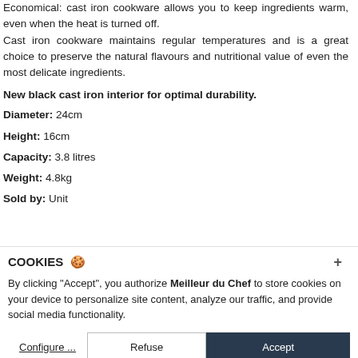Economical: cast iron cookware allows you to keep ingredients warm, even when the heat is turned off.
Cast iron cookware maintains regular temperatures and is a great choice to preserve the natural flavours and nutritional value of even the most delicate ingredients.
New black cast iron interior for optimal durability.
Diameter: 24cm
Height: 16cm
Capacity: 3.8 litres
Weight: 4.8kg
Sold by: Unit
COOKIES
By clicking "Accept", you authorize Meilleur du Chef to store cookies on your device to personalize site content, analyze our traffic, and provide social media functionality.